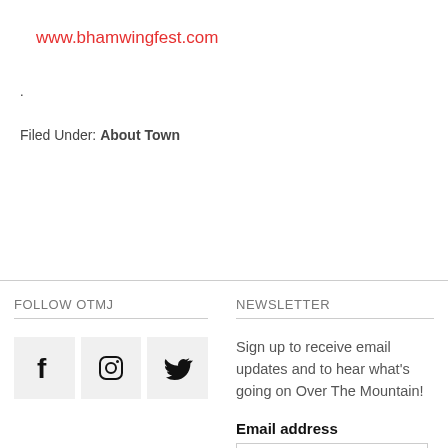www.bhamwingfest.com
.
Filed Under: About Town
FOLLOW OTMJ
NEWSLETTER
[Figure (illustration): Three social media icon boxes: Facebook (f), Instagram (camera), Twitter (bird)]
Sign up to receive email updates and to hear what's going on Over The Mountain!
Email address